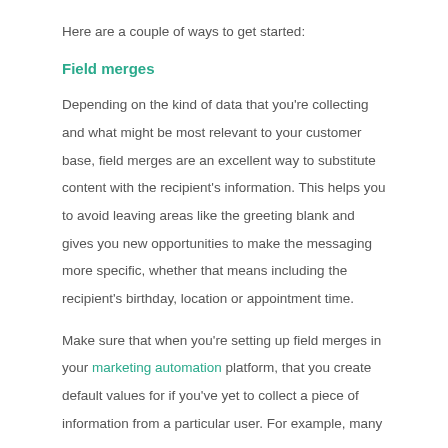Here are a couple of ways to get started:
Field merges
Depending on the kind of data that you're collecting and what might be most relevant to your customer base, field merges are an excellent way to substitute content with the recipient's information. This helps you to avoid leaving areas like the greeting blank and gives you new opportunities to make the messaging more specific, whether that means including the recipient's birthday, location or appointment time.
Make sure that when you're setting up field merges in your marketing automation platform, that you create default values for if you've yet to collect a piece of information from a particular user. For example, many